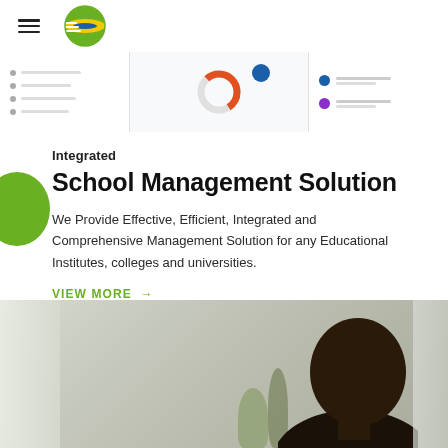[Figure (screenshot): Dashboard UI screenshot strip showing a left navigation panel with menu items, a center panel with a donut chart and blue circle, and a right panel with purple and blue list items]
Integrated
School Management Solution
We Provide Effective, Efficient, Integrated and Comprehensive Management Solution for any Educational Institutes, colleges and universities.
VIEW MORE →
[Figure (photo): Photo of a person (back/side of head visible) seated at a desk in a bright room with plants and curtains in the background]